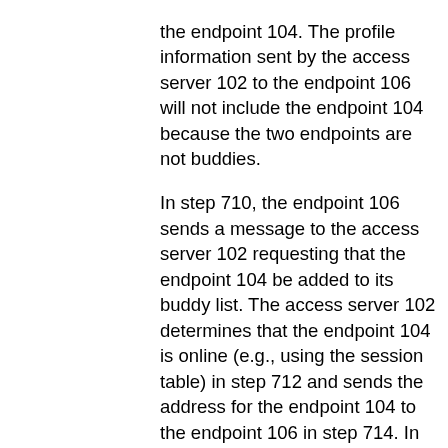the endpoint 104. The profile information sent by the access server 102 to the endpoint 106 will not include the endpoint 104 because the two endpoints are not buddies. In step 710, the endpoint 106 sends a message to the access server 102 requesting that the endpoint 104 be added to its buddy list. The access server 102 determines that the endpoint 104 is online (e.g., using the session table) in step 712 and sends the address for the endpoint 104 to the endpoint 106 in step 714. In step 716, the endpoint 106 sends a message directly to the endpoint 104 requesting that the endpoint 106 be added to its buddy list. The endpoint 104 responds to the endpoint 106 in step 718 with either permission or a denial, and the endpoint 104 also updates the access server 102 with the response in step 720. For example, if the response grants permission, then the endpoint 104 informs the access server 102 so that the access server can modify the profile of both endpoints to reflect the new relationship. It is understood that various other actions may be taken. For example, if the endpoint 104 denies the request, then the access server 102 may not respond to another request by the endpoint 106 (with